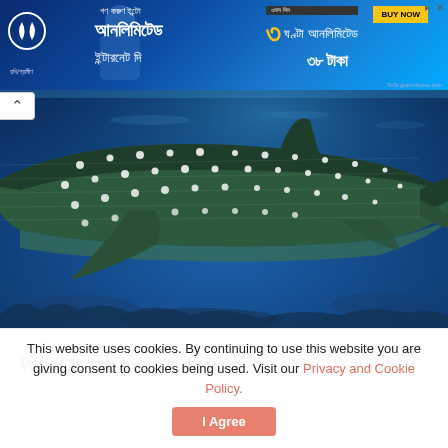[Figure (screenshot): Advertisement banner for a Bangladeshi telecom (Robi/similar) offering unlimited internet data for 38 Taka, with Bengali script text and BUY NOW button, blue gradient background with person holding phone]
[Figure (photo): Underwater photograph of a whale shark swimming, showing its spotted pattern (white dots on dark grey/green body), large pectoral fins, against a deep blue ocean background]
FISH
What is the biggest fish?
MAY 10, 2022
This website uses cookies. By continuing to use this website you are giving consent to cookies being used. Visit our Privacy and Cookie Policy.
I Agree